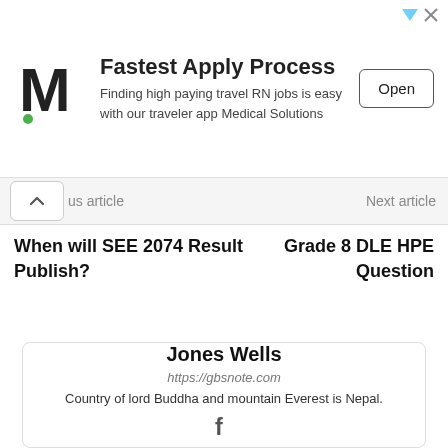[Figure (other): Advertisement banner: M logo (Medical Solutions) with text 'Fastest Apply Process', 'Finding high paying travel RN jobs is easy with our traveler app Medical Solutions', and an 'Open' button]
s article
Next article
When will SEE 2074 Result Publish?
Grade 8 DLE HPE Question
Jones Wells
https://gbsnote.com
Country of lord Buddha and mountain Everest is Nepal.